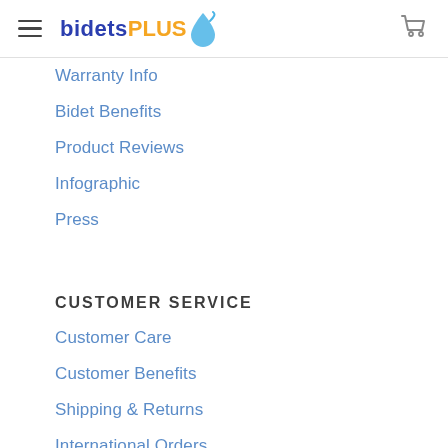bidetsPLUS
Warranty Info
Bidet Benefits
Product Reviews
Infographic
Press
CUSTOMER SERVICE
Customer Care
Customer Benefits
Shipping & Returns
International Orders
OUR COMPANY